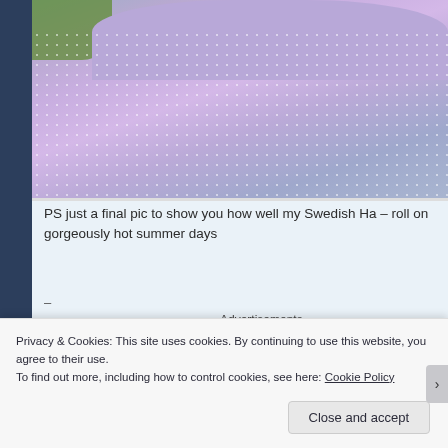[Figure (photo): Close-up photo of a lavender/purple polka dot bean bag or fabric item resting on green grass, viewed from above. The fabric is light purple with small white dots.]
PS just a final pic to show you how well my Swedish Ha – roll on gorgeously hot summer days
–
Advertisements
Privacy & Cookies: This site uses cookies. By continuing to use this website, you agree to their use.
To find out more, including how to control cookies, see here: Cookie Policy
Close and accept